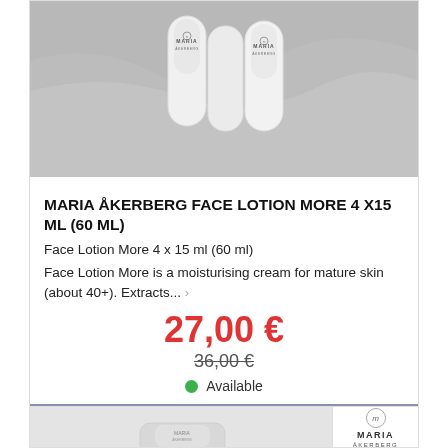[Figure (photo): Product photo showing multiple Maria Åkerberg white tubes/containers arranged on a gray fabric background]
MARIA ÅKERBERG FACE LOTION MORE 4 X15 ML (60 ML)
Face Lotion More 4 x 15 ml (60 ml)
Face Lotion More is a moisturising cream for mature skin (about 40+). Extracts...
27,00 €
36,00 €
Available
ADD TO CART
[Figure (photo): Second product card showing Maria Åkerberg product with logo, partial view of product image and logo area]